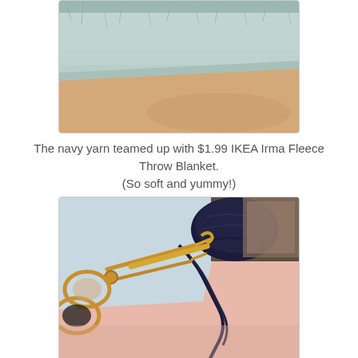[Figure (photo): Close-up photo of fluffy light blue/white fleece fabric edge against a tan/beige background]
The navy yarn teamed up with $1.99 IKEA Irma Fleece Throw Blanket.
(So soft and yummy!)
[Figure (photo): Photo of gold/copper scissors and a gold crochet hook on light blue fleece fabric with navy yarn and a product box in the background on a pink surface]
Something really sharp was needed for little cuts, so the hair cutting shears